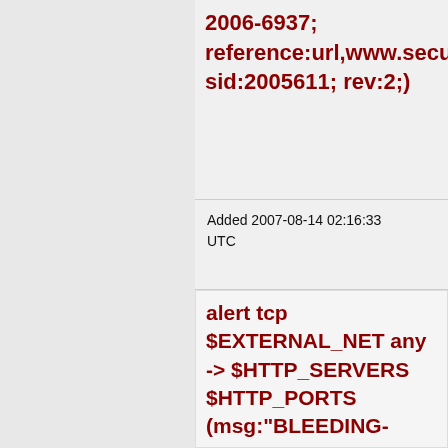2006-6937; reference:url,www.securit sid:2005611; rev:2;)
Added 2007-08-14 02:16:33 UTC
alert tcp $EXTERNAL_NET any -> $HTTP_SERVERS $HTTP_PORTS (msg:"BLEEDING-EDGE WEB Xtreme ASP Photo Gallery SQL Injection Attempt -- displaypic.asp sortorder INSERT"; flow:established,to_serv...